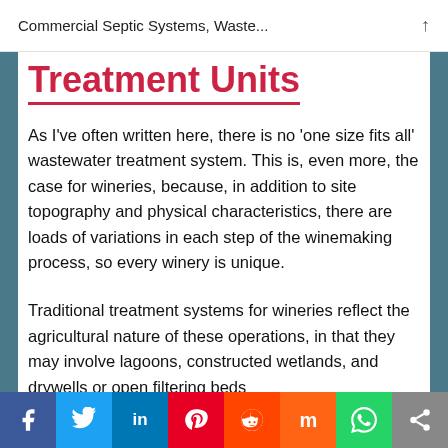Commercial Septic Systems, Waste...
Treatment Units
As I've often written here, there is no 'one size fits all' wastewater treatment system. This is, even more, the case for wineries, because, in addition to site topography and physical characteristics, there are loads of variations in each step of the winemaking process, so every winery is unique.
Traditional treatment systems for wineries reflect the agricultural nature of these operations, in that they may involve lagoons, constructed wetlands, and drywells or open filtering beds
f  t  in  P  reddit  mix  whatsapp  share